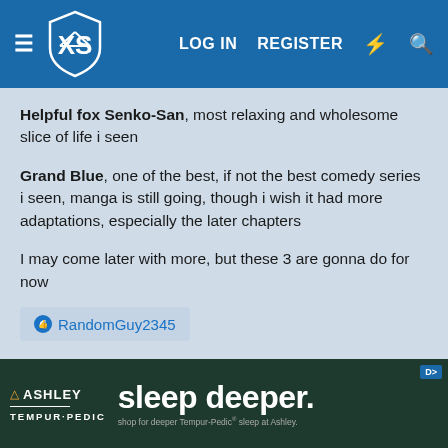XS - LOG IN  REGISTER
Helpful fox Senko-San, most relaxing and wholesome slice of life i seen

Grand Blue, one of the best, if not the best comedy series i seen, manga is still going, though i wish it had more adaptations, especially the later chapters

I may come later with more, but these 3 are gonna do for now
👍 RandomGuy2345
[Figure (other): Ashley TEMPUR-PEDIC advertisement banner: 'sleep deeper. shop for deeper Tempur-Pedic sleep at Ashley.']
PUMA